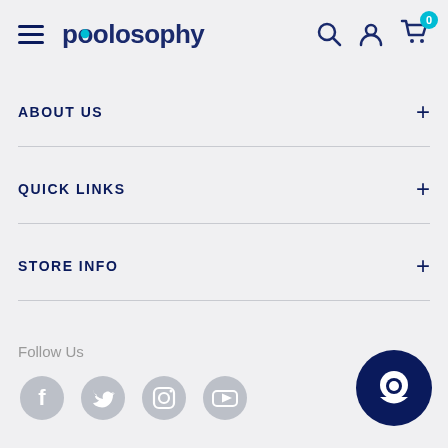poolosophy — navigation header with hamburger menu, logo, search, account, and cart icons
ABOUT US
QUICK LINKS
STORE INFO
Follow Us
[Figure (other): Social media icons: Facebook, Twitter, Instagram, YouTube — circular grey icons]
[Figure (other): Dark navy blue chat bubble / customer support button in bottom right corner]